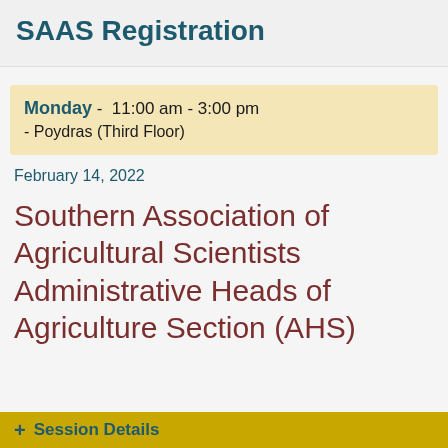SAAS Registration
Monday - 11:00 am - 3:00 pm - Poydras (Third Floor)
February 14, 2022
Southern Association of Agricultural Scientists Administrative Heads of Agriculture Section (AHS)
+ Session Details